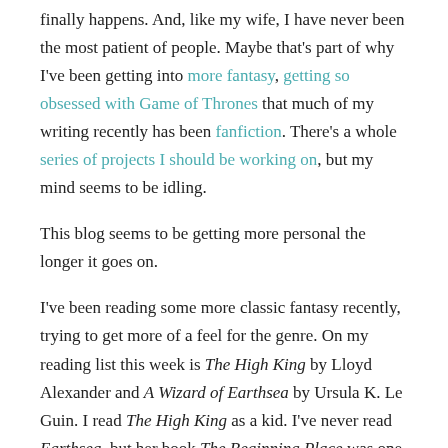finally happens. And, like my wife, I have never been the most patient of people. Maybe that's part of why I've been getting into more fantasy, getting so obsessed with Game of Thrones that much of my writing recently has been fanfiction. There's a whole series of projects I should be working on, but my mind seems to be idling.
This blog seems to be getting more personal the longer it goes on.
I've been reading some more classic fantasy recently, trying to get more of a feel for the genre. On my reading list this week is The High King by Lloyd Alexander and A Wizard of Earthsea by Ursula K. Le Guin. I read The High King as a kid. I've never read Earthsea, but her book The Beginning Place was one of the best books I discovered as a teen. First